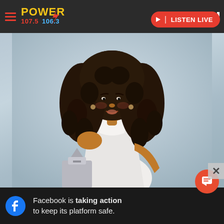Essence Awards
POWER 107.5 | LISTEN LIVE
[Figure (photo): Woman with voluminous curly dark hair wearing a white halter dress, holding a silver award trophy, posed against a light grey background. Event: Essence Awards.]
Facebook is taking action to keep its platform safe.